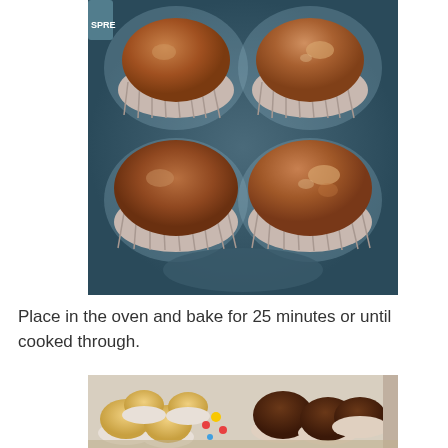[Figure (photo): Close-up photo of chocolate muffins in paper liners inside a dark muffin baking tin, viewed from above at a slight angle.]
Place in the oven and bake for 25 minutes or until cooked through.
[Figure (photo): Photo of assorted baked muffins — vanilla/yellow muffins on the left in white paper liners and chocolate muffins on the right, arranged on a surface with colorful decorations.]